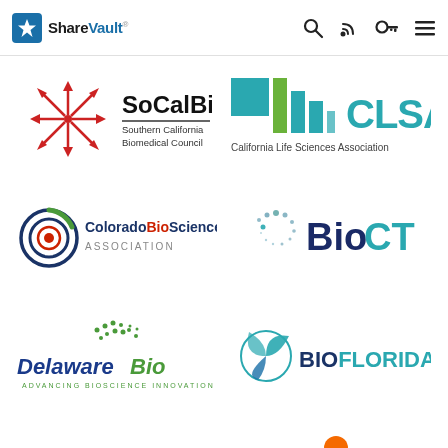ShareVault [navigation icons: search, rss, key, menu]
[Figure (logo): SoCalBio - Southern California Biomedical Council logo with red starburst arrows icon]
[Figure (logo): CLSA - California Life Sciences Association logo with teal/green tile graphic]
[Figure (logo): Colorado BioScience Association logo with concentric circle eye icon]
[Figure (logo): BioCT logo with spiral dot icon in teal and dark blue]
[Figure (logo): DelawareBio - Advancing Bioscience Innovation logo in blue/green italic]
[Figure (logo): BioFlorida logo with teal circular leaf icon]
[Figure (logo): Georgia Bio logo in green serif font (partially visible)]
[Figure (logo): Unknown orange logo partially visible bottom right]